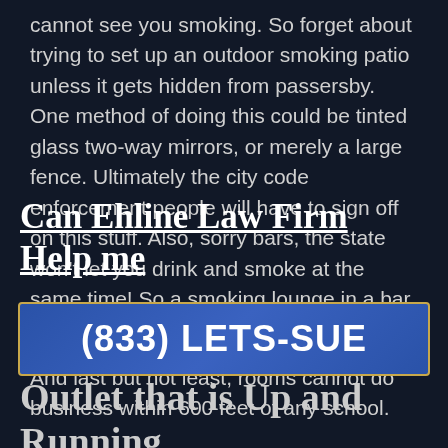cannot see you smoking. So forget about trying to set up an outdoor smoking patio unless it gets hidden from passersby. One method of doing this could be tinted glass two-way mirrors, or merely a large fence. Ultimately the city code enforcement people will have to sign off on this stuff. Also, sorry bars, the state won't let you drink and smoke at the same time! So a smoking lounge in a bar, bad, next to a bar, maybe ok.
And last but not least, rooms cannot do business within 600 feet of any school.
Can Ehline Law Firm Help me
(833) LETS-SUE
Outlet that is Up and Running